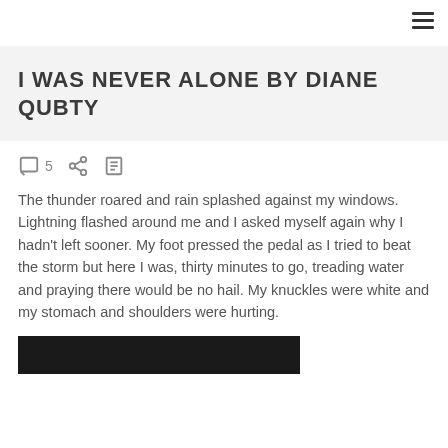≡
I WAS NEVER ALONE BY DIANE QUBTY
5
The thunder roared and rain splashed against my windows. Lightning flashed around me and I asked myself again why I hadn't left sooner. My foot pressed the pedal as I tried to beat the storm but here I was, thirty minutes to go, treading water and praying there would be no hail. My knuckles were white and my stomach and shoulders were hurting.
[Figure (photo): Dark/black image strip at the bottom of the page]